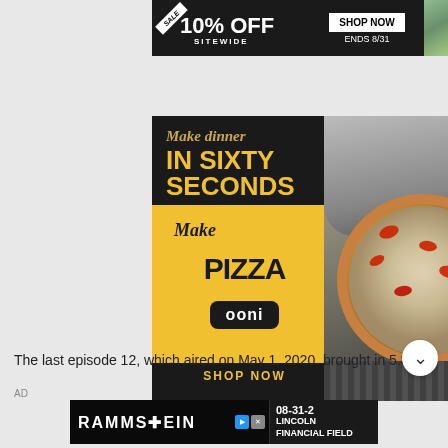[Figure (other): Advertisement banner: SALE 10% OFF SITEWIDE, SHOP NOW, ENDS 8/31, BIG TIMBER]
[Figure (other): Ooni pizza oven advertisement: Make dinner IN SIXTY SECONDS, Make Pizza, Ooni logo, SHOP NOW, with photo of pizza on Ooni oven]
The last episode 12, which aired on May 1, 2020, brought in 5.889 milli
AD
[Figure (other): Rammstein concert advertisement: RAMMSTEIN, 08-31-2, LINCOLN FINANCIAL FIELD]